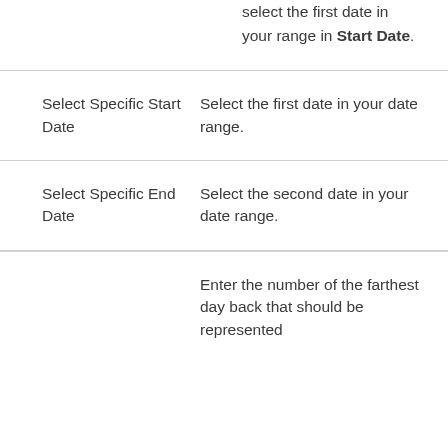select the first date in your range in Start Date.
Select Specific Start Date
Select the first date in your date range.
Select Specific End Date
Select the second date in your date range.
Enter the number of the farthest day back that should be represented